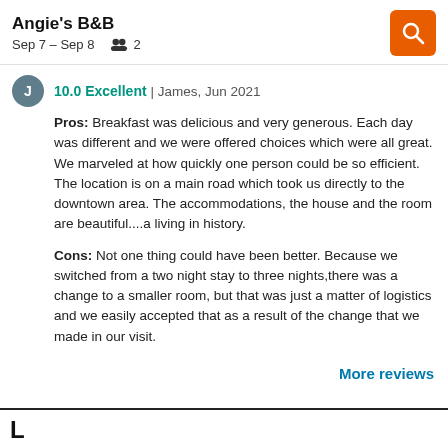Angie's B&B
Sep 7 – Sep 8   2
10.0 Excellent | James, Jun 2021
Pros: Breakfast was delicious and very generous. Each day was different and we were offered choices which were all great. We marveled at how quickly one person could be so efficient. The location is on a main road which took us directly to the downtown area. The accommodations, the house and the room are beautiful....a living in history.
Cons: Not one thing could have been better. Because we switched from a two night stay to three nights,there was a change to a smaller room, but that was just a matter of logistics and we easily accepted that as a result of the change that we made in our visit.
More reviews
Location